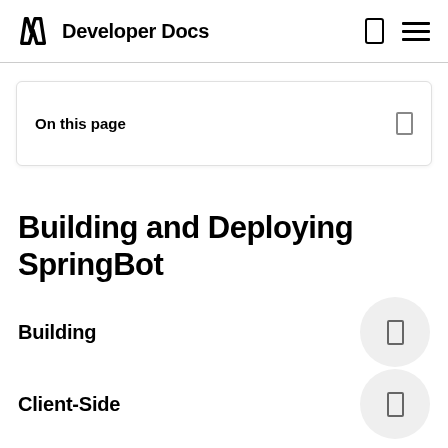Developer Docs
On this page
Building and Deploying SpringBot
Building
Client-Side
When the client-side is built, the transpiled files are placed